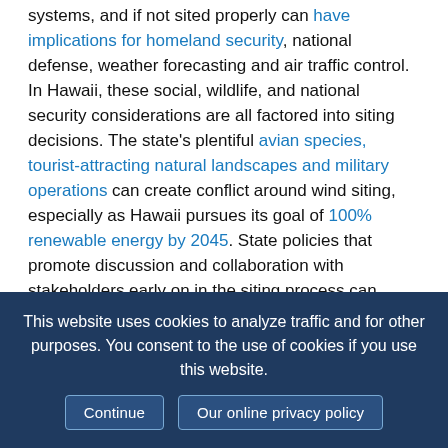systems, and if not sited properly can have implications for homeland security, national defense, weather forecasting and air traffic control. In Hawaii, these social, wildlife, and national security considerations are all factored into siting decisions. The state's plentiful avian species, tourist-attracting natural landscapes and military operations can create conflict around wind siting, especially as Hawaii pursues its goal of 100% renewable energy by 2045. State policies that promote discussion and collaboration with stakeholders early on in the siting process can mitigate some of these challenges.
Some states are also considering policies that would create additional barriers in the siting approval process. For example, Ohio considered legislation in 2019 and 2020 to
This website uses cookies to analyze traffic and for other purposes. You consent to the use of cookies if you use this website. [Continue] [Our online privacy policy]